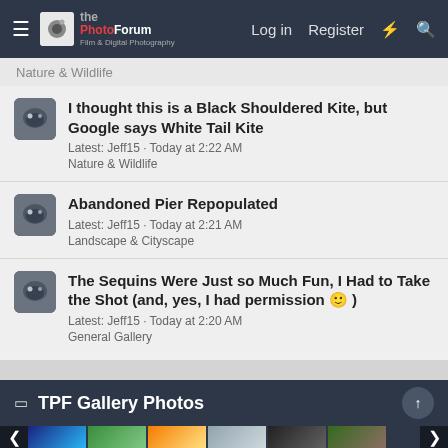The Photo Forum — Log in | Register
Nature & Wildlife
I thought this is a Black Shouldered Kite, but Google says White Tail Kite
Latest: Jeff15 · Today at 2:22 AM
Nature & Wildlife
Abandoned Pier Repopulated
Latest: Jeff15 · Today at 2:21 AM
Landscape & Cityscape
The Sequins Were Just so Much Fun, I Had to Take the Shot (and, yes, I had permission 🙂 )
Latest: Jeff15 · Today at 2:20 AM
General Gallery
TPF Gallery Photos
[Figure (photo): Six thumbnail gallery photos in a horizontal strip with prev/next navigation arrows]